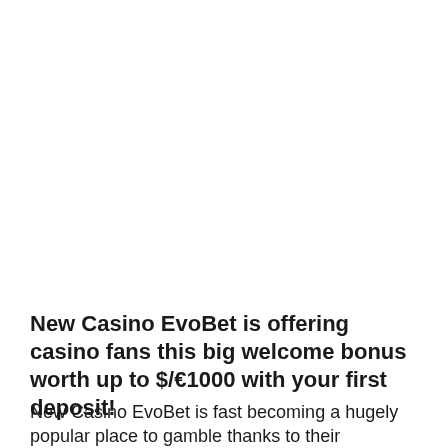New Casino EvoBet is offering casino fans this big welcome bonus worth up to $/€1000 with your first deposit!
New Casino EvoBet is fast becoming a hugely popular place to gamble thanks to their incredible player offers and outstanding